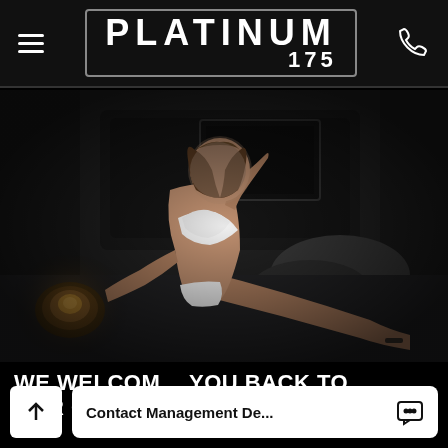PLATINUM 175
[Figure (photo): Woman in white lingerie posed on dark bed in a dimly lit room]
WE WELCOME YOU BACK TO OUR GRAND
Contact Management De...